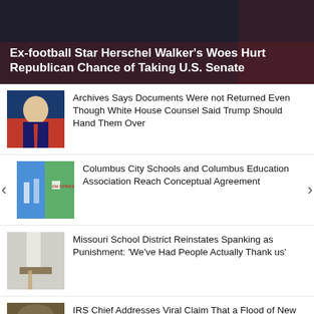Ex-football Star Herschel Walker's Woes Hurt Republican Chance of Taking U.S. Senate
Archives Says Documents Were not Returned Even Though White House Counsel Said Trump Should Hand Them Over
Columbus City Schools and Columbus Education Association Reach Conceptual Agreement
Missouri School District Reinstates Spanking as Punishment: 'We've Had People Actually Thank us'
IRS Chief Addresses Viral Claim That a Flood of New 'Armed' Agents is Coming: 'Absolutely False'